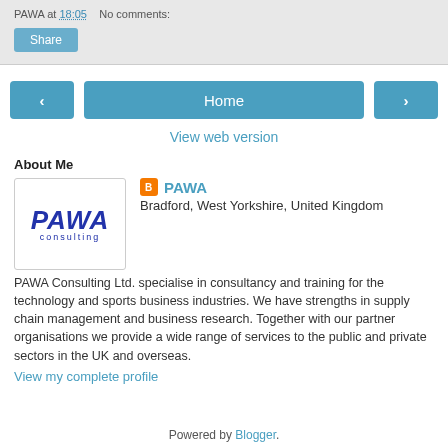PAWA at 18:05   No comments:
Share
< Home >
View web version
About Me
[Figure (logo): PAWA Consulting logo with italic blue PAWA text and consulting subtitle]
PAWA
Bradford, West Yorkshire, United Kingdom
PAWA Consulting Ltd. specialise in consultancy and training for the technology and sports business industries. We have strengths in supply chain management and business research. Together with our partner organisations we provide a wide range of services to the public and private sectors in the UK and overseas.
View my complete profile
Powered by Blogger.